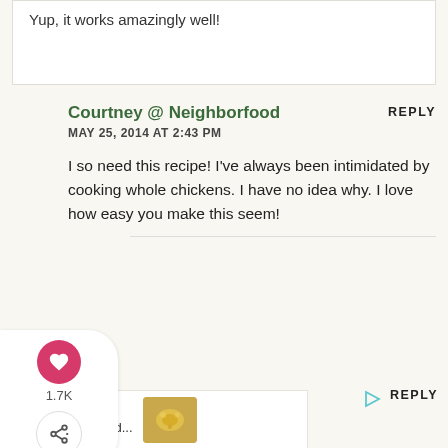Yup, it works amazingly well!
Courtney @ Neighborfood
MAY 25, 2014 AT 2:43 PM
I so need this recipe! I've always been intimidated by cooking whole chickens. I have no idea why. I love how easy you make this seem!
1.7K
WHAT'S NEXT → Lemon Herb Grilled...
Brianne Izzo
MAY 25, 2014 AT 4:25 PM